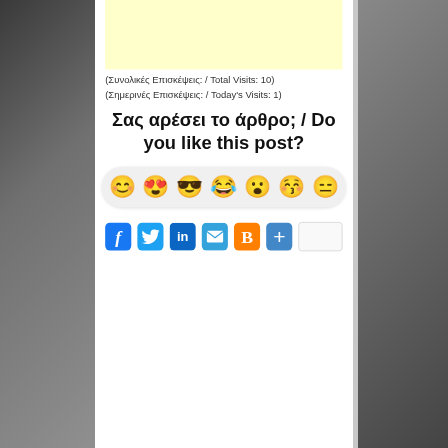[Figure (screenshot): Yellow advertisement banner placeholder]
(Συνολικές Επισκέψεις: / Total Visits: 10)
(Σημερινές Επισκέψεις: / Today's Visits: 1)
Σας αρέσει το άρθρο; / Do you like this post?
[Figure (infographic): A row of 7 emoji reaction faces in a rounded pill-shaped container: smiling, smiling with hearts for eyes, cool with sunglasses, laughing, surprised/open mouth, kissing/puckered, neutral/skeptical]
[Figure (infographic): Social sharing buttons row: Facebook (blue f), Twitter (blue bird), LinkedIn (blue in), Email (blue envelope), Blogger (orange B), Plus/share (blue +), and a white share count box]